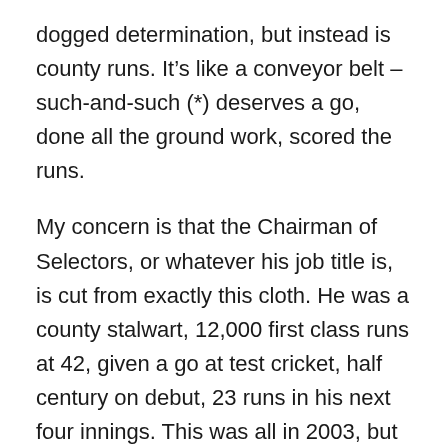dogged determination, but instead is county runs. It’s like a conveyor belt – such-and-such (*) deserves a go, done all the ground work, scored the runs.
My concern is that the Chairman of Selectors, or whatever his job title is, is cut from exactly this cloth. He was a county stalwart, 12,000 first class runs at 42, given a go at test cricket, half century on debut, 23 runs in his next four innings. This was all in 2003, but only the date stops it from being a 90s career. He is the epitome of the steady-as-you-go approach that results in things being OK, which as we’ve established is the same as rubbish. Which outsider is he going to identify? Which batsman with the rough edges and not necessarily the county runs